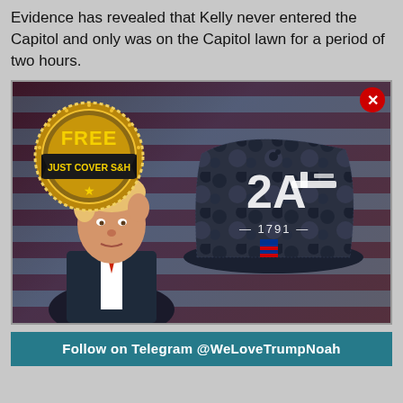Evidence has revealed that Kelly never entered the Capitol and only was on the Capitol lawn for a period of two hours.
[Figure (photo): Advertisement image showing a man in suit on left side and a dark camouflage baseball cap with '2A 1791' embroidery on the right, with an American flag background. A gold circular badge reads 'FREE JUST COVER S&H' with a star. A red close button (X) appears in top-right corner.]
Follow on Telegram @WeLoveTrumpNoah